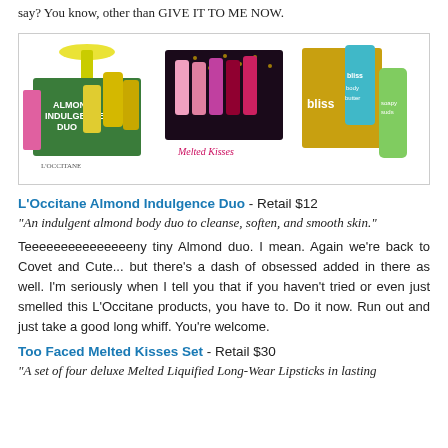say? You know, other than GIVE IT TO ME NOW.
[Figure (photo): Three beauty gift sets side by side: L'Occitane Almond Indulgence Duo (green box with small bottles), Too Faced Melted Kisses Set (black and pink box with lip glosses), and Bliss body butter set (gold and teal packaging).]
L'Occitane Almond Indulgence Duo - Retail $12
"An indulgent almond body duo to cleanse, soften, and smooth skin."
Teeeeeeeeeeeeeeeny tiny Almond duo. I mean. Again we're back to Covet and Cute... but there's a dash of obsessed added in there as well. I'm seriously when I tell you that if you haven't tried or even just smelled this L'Occitane products, you have to. Do it now. Run out and just take a good long whiff. You're welcome.
Too Faced Melted Kisses Set - Retail $30
"A set of four deluxe Melted Liquified Long-Wear Lipsticks in lasting